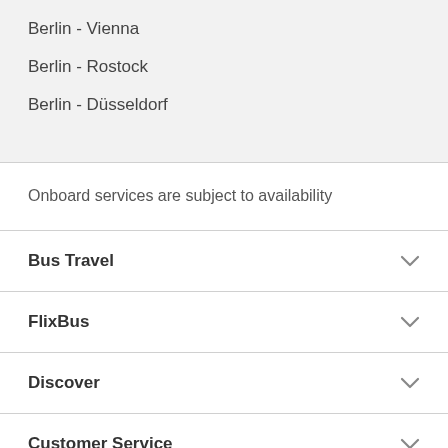Berlin - Vienna
Berlin - Rostock
Berlin - Düsseldorf
Onboard services are subject to availability
Bus Travel
FlixBus
Discover
Customer Service
FlixBus App